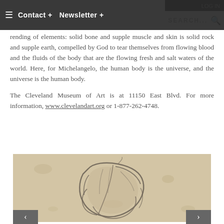Contact + Newsletter + LOG IN SEARCH...
rending of elements: solid bone and supple muscle and skin is solid rock and supple earth, compelled by God to tear themselves from flowing blood and the fluids of the body that are the flowing fresh and salt waters of the world. Here, for Michelangelo, the human body is the universe, and the universe is the human body.
The Cleveland Museum of Art is at 11150 East Blvd. For more information, www.clevelandart.org or 1-877-262-4748.
[Figure (illustration): A pencil or charcoal sketch of a bowed human figure, likely by Michelangelo or in his style, showing a crouching or kneeling form with strong anatomical rendering on aged, cream-toned paper.]